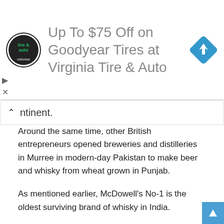[Figure (other): Advertisement banner for Virginia Tire & Auto showing logo on left, text 'Up To $75 Off on Goodyear Tires at Virginia Tire & Auto' in center, and a blue diamond navigation icon on the right.]
ntinent.
Around the same time, other British entrepreneurs opened breweries and distilleries in Murree in modern-day Pakistan to make beer and whisky from wheat grown in Punjab.
As mentioned earlier, McDowell's No-1 is the oldest surviving brand of whisky in India.
Wrap Up
Following the success of Amrut Single Malt in the UK and US markets, Indian distillers are hopeful of making a big splash on the international whisky scene.